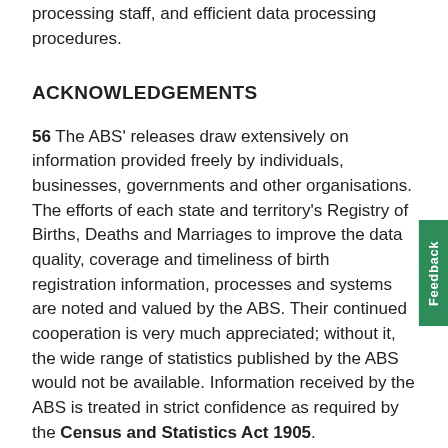processing staff, and efficient data processing procedures.
ACKNOWLEDGEMENTS
56 The ABS' releases draw extensively on information provided freely by individuals, businesses, governments and other organisations. The efforts of each state and territory's Registry of Births, Deaths and Marriages to improve the data quality, coverage and timeliness of birth registration information, processes and systems are noted and valued by the ABS. Their continued cooperation is very much appreciated; without it, the wide range of statistics published by the ABS would not be available. Information received by the ABS is treated in strict confidence as required by the Census and Statistics Act 1905.